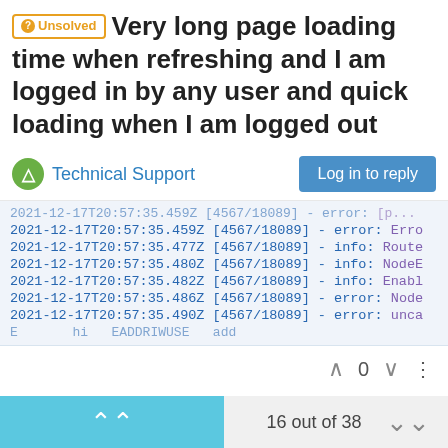Unsolved  Very long page loading time when refreshing and I am logged in by any user and quick loading when I am logged out
Technical Support
[Figure (screenshot): Log output snippet showing timestamped server log lines from 2021-12-17T20:57:35 with process [4567/18089], showing error and info level messages truncated at right edge]
^ 0 v ...
Suggested Topics
16 out of 38